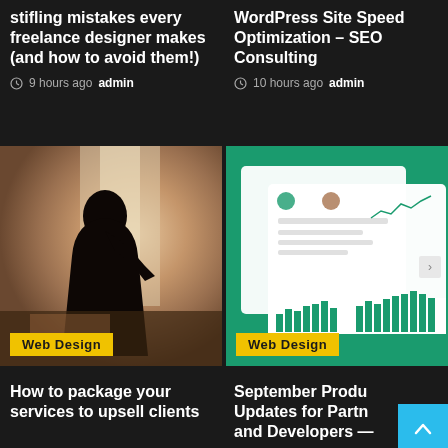stifling mistakes every freelance designer makes (and how to avoid them!)
9 hours ago  admin
WordPress Site Speed Optimization – SEO Consulting
10 hours ago  admin
[Figure (photo): Silhouette of a person sitting at a desk near a window, dark moody tones with warm background]
Web Design
[Figure (screenshot): Dashboard UI screenshot showing analytics charts and bar graphs on a teal/green background]
Web Design
How to package your services to upsell clients
September Product Updates for Partners and Developers —